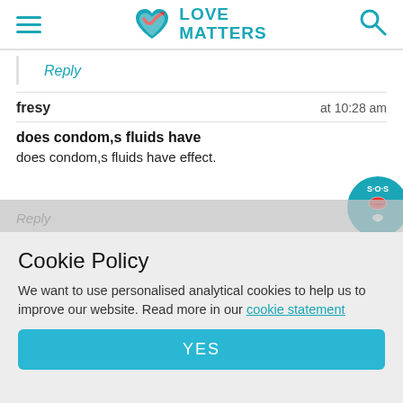Love Matters
Reply
fresy   at 10:28 am
does condom,s fluids have
does condom,s fluids have effect.
Cookie Policy
We want to use personalised analytical cookies to help us to improve our website. Read more in our cookie statement
YES
do you mean the lubricant on the outside of the condom? That's completely safe